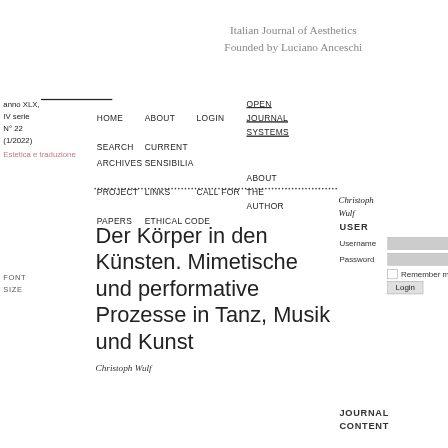Italian Journal of Aesthetics
Founded by Luciano Anceschi
anno XLX, IV serie
N° 22
(1/2022)
Estetica e traduzione
HOME   ABOUT   LOGIN   OPEN JOURNAL SYSTEMS
SEARCH   CURRENT
ARCHIVES   SENSIBILIA
PROJECT   LINKS   CALL FOR
PAPERS   ETHICAL CODE
ABOUT THE AUTHOR
Christoph Wulf
FONT SIZE
Der Körper in den Künsten. Mimetische und performative Prozesse in Tanz, Musik und Kunst
Christoph Wulf
USER
Username
Password
Remember me
Login
JOURNAL CONTENT